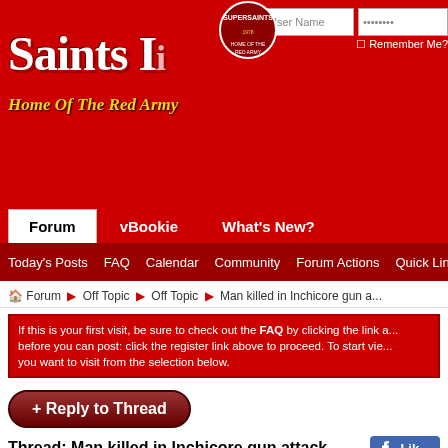Saints Home Of The Red Army - Forum header with login
Forum | vBookie | What's New?
Today's Posts  FAQ  Calendar  Community  Forum Actions  Quick Links
Forum > Off Topic > Off Topic > Man killed in Inchicore gun a...
If this is your first visit, be sure to check out the FAQ by clicking the link a... before you can post: click the register link above to proceed. To start vie... you want to visit from the selection below.
+ Reply to Thread
Thread: Man killed in Inchicore gun attack
Thre...
25th June 2011 08:05 AM
Jimdagym
Super Moderator
Join Date: Jul 2010
Man killed in Inchicore gun...
http://http://www.rte.ie/news/201...